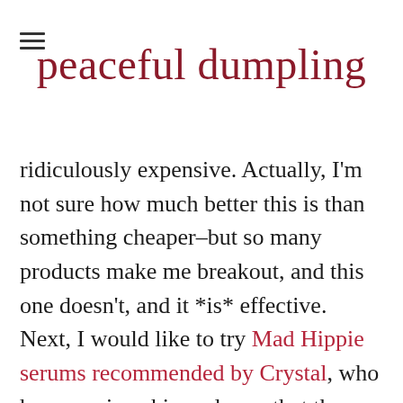peaceful dumpling
ridiculously expensive. Actually, I’m not sure how much better this is than something cheaper–but so many products make me breakout, and this one doesn’t, and it *is* effective. Next, I would like to try Mad Hippie serums recommended by Crystal, who has amazing skin and says that those serums are great at exfoliating.